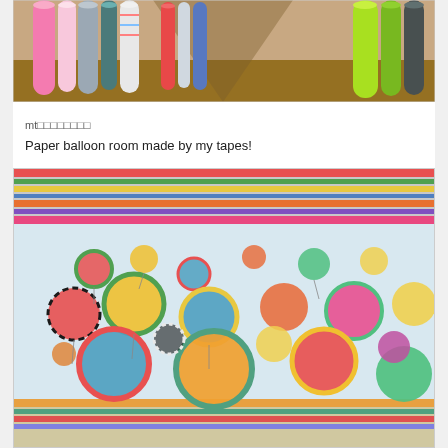[Figure (photo): Photo of colorful rolls of tape/paper in various colors including pink, neon green, gray, and patterned rolls, standing upright in a corridor-like arrangement]
mt□□□□□□□□
Paper balloon room made by my tapes!
[Figure (photo): Photo of a room filled with hanging paper balloons decorated with colorful washi tape patterns in teal, orange, yellow, red, pink, and checkered patterns, with a striped tape ceiling]